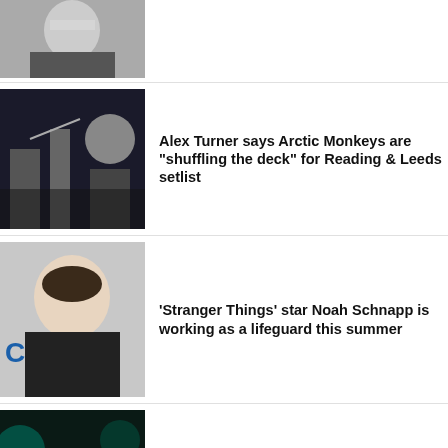[Figure (photo): Partial news thumbnail at top, person in dark outfit]
[Figure (photo): Alex Turner / Arctic Monkeys performing on stage]
Alex Turner says Arctic Monkeys are "shuffling the deck" for Reading & Leeds setlist
[Figure (photo): Noah Schnapp portrait photo]
'Stranger Things' star Noah Schnapp is working as a lifeguard this summer
[Figure (photo): Björk performing on stage]
Björk announces new single 'Atopos' and shares official 'Fossora' artwork
[Figure (photo): Xbox presentation with person on stage with Xbox branding]
Xbox head believes we'll see "less" platform-exclusives in the future
[Figure (photo): Charlie Puth portrait photo at bottom]
Charlie Puth to perform metaverse gig